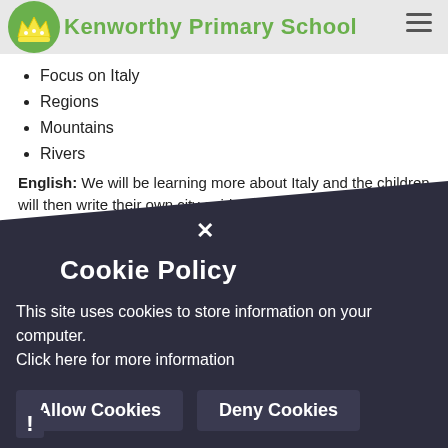Kenworthy Primary School
Focus on Italy
Regions
Mountains
Rivers
English: We will be learning more about Italy and the children will then write their own city guides. This will then be followed by reading the Glassmaker's Daughter and creating and performing play scripts of the tale
Maths: We will continue to work on our arithmetic of using all four number operations, learning how to use formal methods, as well as more efficient mental methods.
Fractions and Decimals – We will revise fractions from previous terms, including comparing fractions, adding and subtracting, and finding fractions of amounts. We will also look at tenths and hundredths...
...back after Easter. It is expected that all children will know their
[Figure (screenshot): Cookie policy popup overlay with dark background, title 'Cookie Policy', message 'This site uses cookies to store information on your computer. Click here for more information', and two buttons: 'Allow Cookies' and 'Deny Cookies']